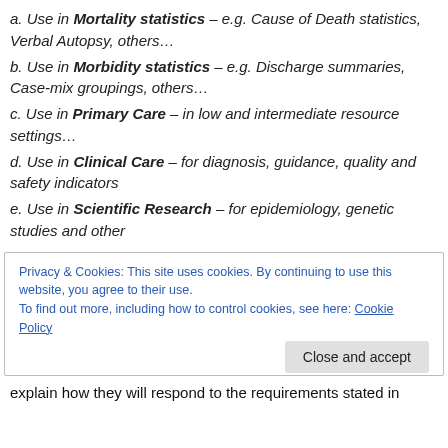a. Use in Mortality statistics – e.g. Cause of Death statistics, Verbal Autopsy, others…
b. Use in Morbidity statistics – e.g. Discharge summaries, Case-mix groupings, others…
c. Use in Primary Care – in low and intermediate resource settings…
d. Use in Clinical Care – for diagnosis, guidance, quality and safety indicators
e. Use in Scientific Research – for epidemiology, genetic studies and other
Privacy & Cookies: This site uses cookies. By continuing to use this website, you agree to their use. To find out more, including how to control cookies, see here: Cookie Policy
explain how they will respond to the requirements stated in